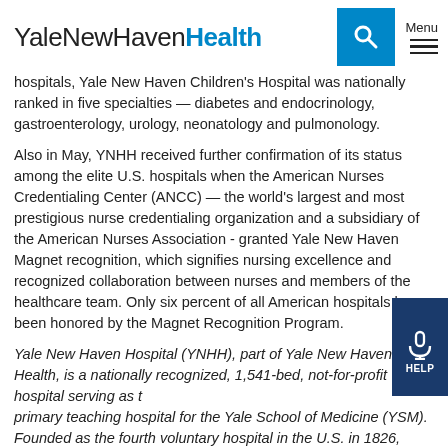YaleNewHavenHealth [logo] Menu [search icon] [hamburger menu]
hospitals, Yale New Haven Children's Hospital was nationally ranked in five specialties — diabetes and endocrinology, gastroenterology, urology, neonatology and pulmonology.
Also in May, YNHH received further confirmation of its status among the elite U.S. hospitals when the American Nurses Credentialing Center (ANCC) — the world's largest and most prestigious nurse credentialing organization and a subsidiary of the American Nurses Association - granted Yale New Haven Magnet recognition, which signifies nursing excellence and recognized collaboration between nurses and members of the healthcare team. Only six percent of all American hospitals have been honored by the Magnet Recognition Program.
Yale New Haven Hospital (YNHH), part of Yale New Haven Health, is a nationally recognized, 1,541-bed, not-for-profit hospital serving as the primary teaching hospital for the Yale School of Medicine (YSM). Founded as the fourth voluntary hospital in the U.S. in 1826, today